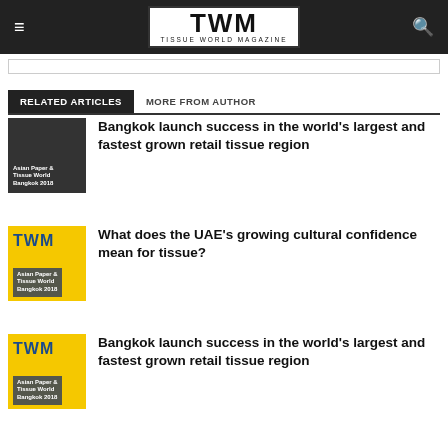TWM TISSUE WORLD MAGAZINE
RELATED ARTICLES | MORE FROM AUTHOR
Bangkok launch success in the world's largest and fastest grown retail tissue region
What does the UAE's growing cultural confidence mean for tissue?
Bangkok launch success in the world's largest and fastest grown retail tissue region